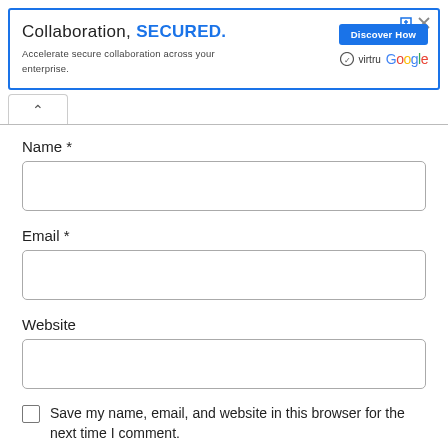[Figure (screenshot): Advertisement banner with blue border: 'Collaboration, SECURED.' with Discover How button, Virtru and Google logos]
Name *
Email *
Website
Save my name, email, and website in this browser for the next time I comment.